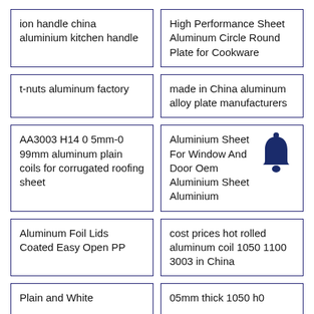ion handle china aluminium kitchen handle
High Performance Sheet Aluminum Circle Round Plate for Cookware
t-nuts aluminum factory
made in China aluminum alloy plate manufacturers
AA3003 H14 0 5mm-0 99mm aluminum plain coils for corrugated roofing sheet
Aluminium Sheet For Window And Door Oem Aluminium Sheet Aluminium
Aluminum Foil Lids Coated Easy Open PP
cost prices hot rolled aluminum coil 1050 1100 3003 in China
Plain and White
05mm thick 1050 h0